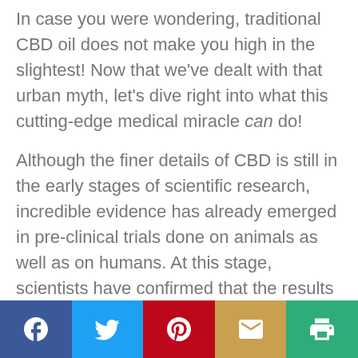In case you were wondering, traditional CBD oil does not make you high in the slightest! Now that we've dealt with that urban myth, let's dive right into what this cutting-edge medical miracle can do!
Although the finer details of CBD is still in the early stages of scientific research, incredible evidence has already emerged in pre-clinical trials done on animals as well as on humans. At this stage, scientists have confirmed that the results point only towards positive benefits, in various different physical and
[Figure (infographic): Social sharing bar with five buttons: Facebook (dark blue), Twitter (light blue), Pinterest (red), Email (tan/gold), Print (green)]